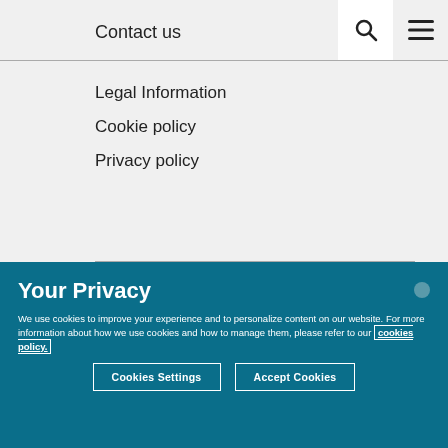Contact us
Legal Information
Cookie policy
Privacy policy
Your Privacy
We use cookies to improve your experience and to personalize content on our website. For more information about how we use cookies and how to manage them, please refer to our cookies policy.
Cookies Settings
Accept Cookies